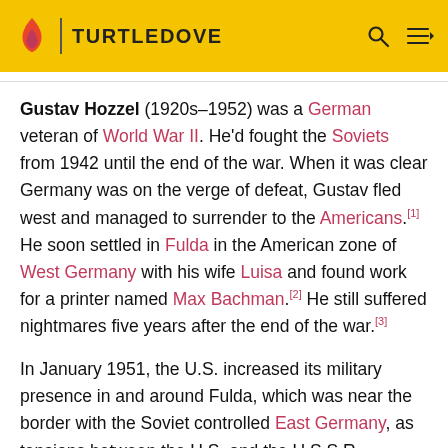TURTLEDOVE
Gustav Hozzel (1920s–1952) was a German veteran of World War II. He'd fought the Soviets from 1942 until the end of the war. When it was clear Germany was on the verge of defeat, Gustav fled west and managed to surrender to the Americans.[1] He soon settled in Fulda in the American zone of West Germany with his wife Luisa and found work for a printer named Max Bachman.[2] He still suffered nightmares five years after the end of the war.[3]
In January 1951, the U.S. increased its military presence in and around Fulda, which was near the border with the Soviet controlled East Germany, as tensions between the U.S. and the U.S.S.R. increased... [4]